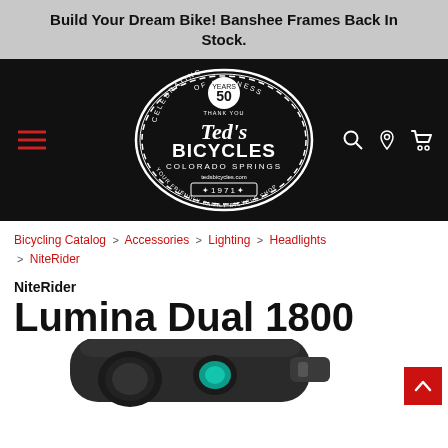Build Your Dream Bike! Banshee Frames Back In Stock.
[Figure (logo): Ted's Bicycles Colorado Springs logo, circular badge style, celebrating 50 years of business, established 1971]
Bicycling Catalog > Accessories > Lighting > Headlights > NiteRider
NiteRider
Lumina Dual 1800
[Figure (photo): Partial view of NiteRider Lumina Dual 1800 bicycle headlight, black with teal accent button]